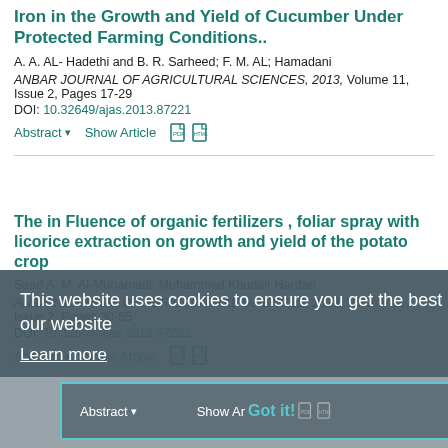Iron in the Growth and Yield of Cucumber Under Protected Farming Conditions..
A. A. AL- Hadethi and B. R. Sarheed; F. M. AL; Hamadani
ANBAR JOURNAL OF AGRICULTURAL SCIENCES, 2013, Volume 11, Issue 2, Pages 17-29
DOI: 10.32649/ajas.2013.87221
Abstract ▾   Show Article
The in Fluence of organic fertilizers , foliar spray with licorice extraction on growth and yield of the potato crop
Saad A. M. Al-Muhamadi; Mohammed Khudair Hardan
ANBAR JOURNAL OF AGRICULTURAL SCIENCES, 2013, Volume 11, Issue 2, Pages 30-55
DOI: 10.32649/ajas.2013.87222
Abstract ▾   Show Article
This website uses cookies to ensure you get the best experience on our website
Learn more
Got it!